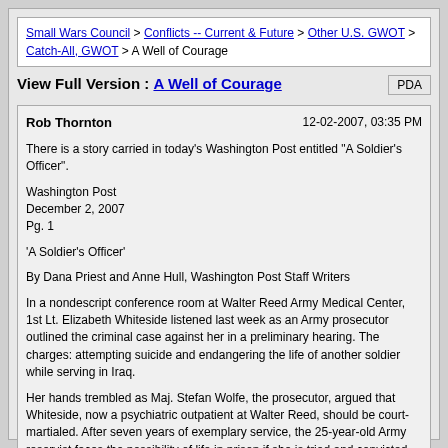Small Wars Council > Conflicts -- Current & Future > Other U.S. GWOT > Catch-All, GWOT > A Well of Courage
View Full Version : A Well of Courage
Rob Thornton   12-02-2007, 03:35 PM
There is a story carried in today's Washington Post entitled "A Soldier's Officer".
Washington Post
December 2, 2007
Pg. 1

'A Soldier's Officer'

By Dana Priest and Anne Hull, Washington Post Staff Writers

In a nondescript conference room at Walter Reed Army Medical Center, 1st Lt. Elizabeth Whiteside listened last week as an Army prosecutor outlined the criminal case against her in a preliminary hearing. The charges: attempting suicide and endangering the life of another soldier while serving in Iraq.

Her hands trembled as Maj. Stefan Wolfe, the prosecutor, argued that Whiteside, now a psychiatric outpatient at Walter Reed, should be court-martialed. After seven years of exemplary service, the 25-year-old Army reservist faces the possibility of life in prison if she is tried and convicted.

Military psychiatrists at Walter Reed who examined Whiteside after she recovered from her self-inflicted gunshot wound diagnosed her with a severe mental disorder, possibly triggered by the stresses of a war zone. But Whiteside's superiors considered her mental illness "an excuse" for criminal